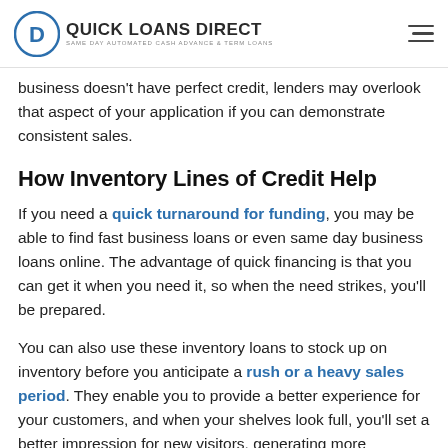QUICK LOANS DIRECT — SAME DAY AUTOMATED CASH ADVANCE & TERM LOANS
business doesn't have perfect credit, lenders may overlook that aspect of your application if you can demonstrate consistent sales.
How Inventory Lines of Credit Help
If you need a quick turnaround for funding, you may be able to find fast business loans or even same day business loans online. The advantage of quick financing is that you can get it when you need it, so when the need strikes, you'll be prepared.
You can also use these inventory loans to stock up on inventory before you anticipate a rush or a heavy sales period. They enable you to provide a better experience for your customers, and when your shelves look full, you'll set a better impression for new visitors, generating more